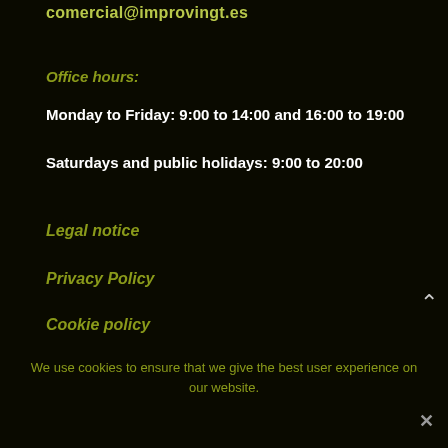comercial@improvingt.es
Office hours:
Monday to Friday: 9:00 to 14:00 and 16:00 to 19:00
Saturdays and public holidays: 9:00 to 20:00
Legal notice
Privacy Policy
Cookie policy
We use cookies to ensure that we give the best user experience on our website.